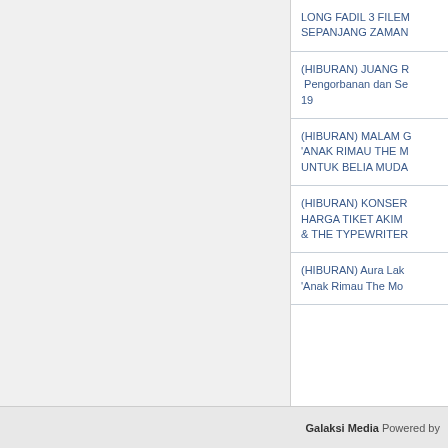LONG FADIL 3 FILEM SEPANJANG ZAMAN
(HIBURAN) JUANG R Pengorbanan dan Se 19
(HIBURAN) MALAM G 'ANAK RIMAU THE M UNTUK BELIA MUDA
(HIBURAN) KONSER HARGA TIKET AKIM & THE TYPEWRITER
(HIBURAN) Aura Lak 'Anak Rimau The Mo
Galaksi Media Powered by